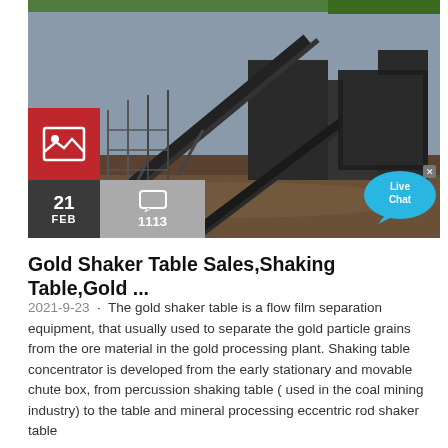[Figure (photo): Industrial mining/processing plant with conveyor belts, machinery, and construction structures on a dirt ground under an overcast sky.]
Gold Shaker Table Sales,Shaking Table,Gold ...
2021-9-23 · The gold shaker table is a flow film separation equipment, that usually used to separate the gold particle grains from the ore material in the gold processing plant. Shaking table concentrator is developed from the early stationary and movable chute box, from percussion shaking table ( used in the coal mining industry) to the table and mineral processing eccentric rod shaker table